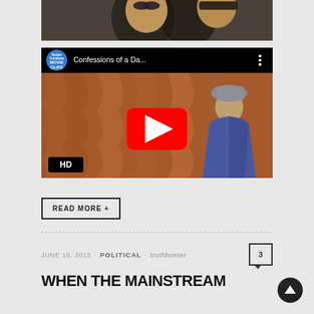[Figure (photo): Partially visible image at top showing two people's faces, dark toned, cropped at top of page]
[Figure (screenshot): YouTube embedded video player showing 'Confessions of a Da...' from Rotten Tomatoes Movie Clips channel. Video thumbnail shows a person in a grey hat and blue jacket with an orange/copper curtain background. HD badge in lower left. Red play button in center.]
READ MORE +
JUNE 15, 2015 · POLITICAL · truthhunter
WHEN THE MAINSTREAM